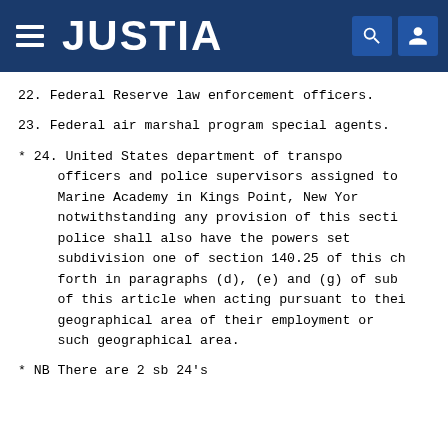JUSTIA
22. Federal Reserve law enforcement officers.
23. Federal air marshal program special agents.
* 24. United States department of transportation officers and police supervisors assigned to the United States Merchant Marine Academy in Kings Point, New York, who, notwithstanding any provision of this section, such police shall also have the powers set forth in subdivision one of section 140.25 of this chapter and set forth in paragraphs (d), (e) and (g) of subdivision two of this article when acting pursuant to their duties within the geographical area of their employment or within one mile of such geographical area.
* NB There are 2 sb 24's